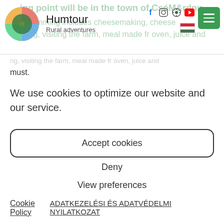Humtour — Rural adventures
must.
We use cookies to optimize our website and our service.
Accept cookies
Deny
View preferences
Cookie Policy   ADATKEZELÉSI ÉS ADATVÉDELMI NYILATKOZAT